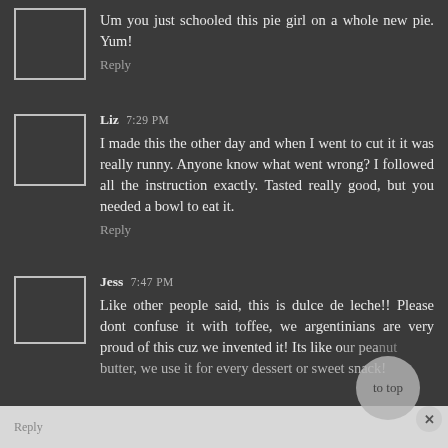Um you just schooled this pie girl on a whole new pie. Yum!
Reply
Liz 7:29 PM
I made this the other day and when I went to cut it it was really runny. Anyone know what went wrong? I followed all the instruction exactly. Tasted really good, but you needed a bowl to eat it.
Reply
Jess 7:47 PM
Like other people said, this is dulce de leche!! Please dont confuse it with toffee, we argentinians are very proud of this cuz we invented it! Its like our peanut butter, we use it for every dessert or sweet snack!
Reply